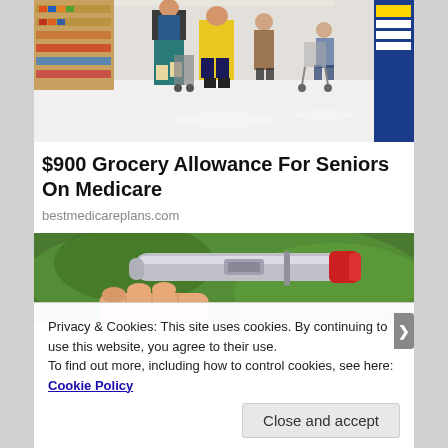[Figure (photo): People shopping in a large retail store (like Walmart), walking down an aisle with shopping carts. Multiple shoppers visible from behind or side angle on a bright white floor.]
$900 Grocery Allowance For Seniors On Medicare
bestmedicareplans.com
[Figure (photo): Close-up of a hand holding what appears to be a medical pen/injector device (insulin pen or similar), with a blurred green background.]
Privacy & Cookies: This site uses cookies. By continuing to use this website, you agree to their use.
To find out more, including how to control cookies, see here: Cookie Policy
Close and accept